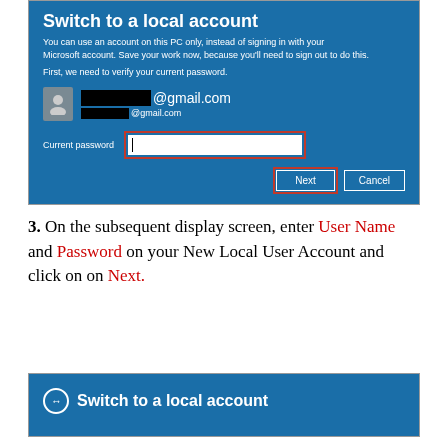[Figure (screenshot): Windows 10 'Switch to a local account' dialog showing email fields with redacted username @gmail.com, a Current password input field highlighted with a red border, and Next/Cancel buttons with Next highlighted in red border.]
3. On the subsequent display screen, enter User Name and Password on your New Local User Account and click on on Next.
[Figure (screenshot): Partial Windows 10 'Switch to a local account' dialog header shown at bottom of page.]